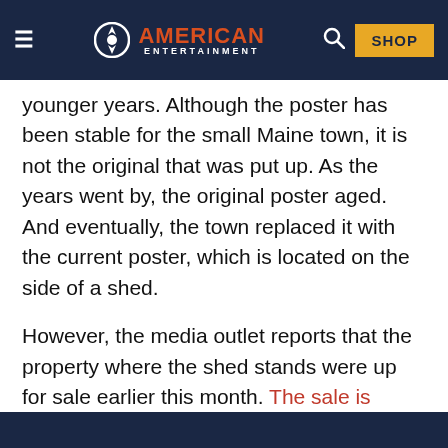American Entertainment — SHOP
younger years. Although the poster has been stable for the small Maine town, it is not the original that was put up. As the years went by, the original poster aged. And eventually, the town replaced it with the current poster, which is located on the side of a shed.
However, the media outlet reports that the property where the shed stands were up for sale earlier this month. The sale is currently pending. The new owner will be responsible for...